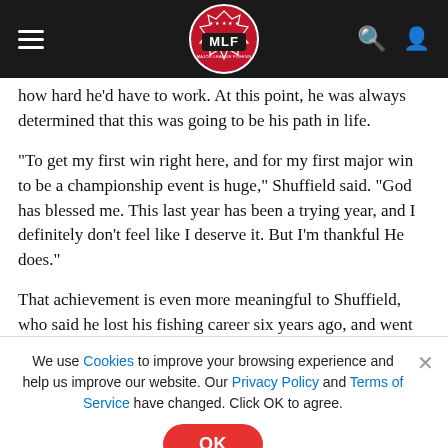MLF Major League Fishing header navigation bar
how hard he'd have to work. At this point, he was always determined that this was going to be his path in life.
“To get my first win right here, and for my first major win to be a championship event is huge,” Shuffield said. “God has blessed me. This last year has been a trying year, and I definitely don’t feel like I deserve it. But I’m thankful He does.”
That achievement is even more meaningful to Shuffield, who said he lost his fishing career six years ago, and went into one
We use Cookies to improve your browsing experience and help us improve our website. Our Privacy Policy and Terms of Service have changed. Click OK to agree.
[Figure (logo): Humminbird Mega Live Imaging TargetLock advertisement banner]